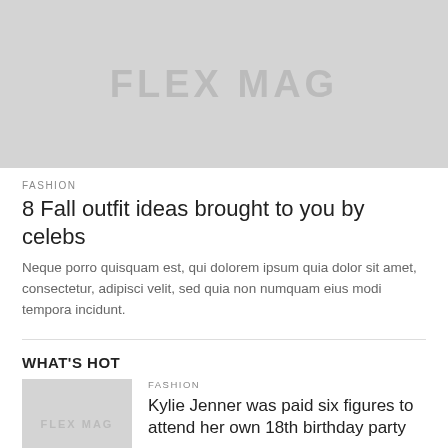[Figure (illustration): Hero image placeholder with FLEX MAG logo text in grey on light grey background]
FASHION
8 Fall outfit ideas brought to you by celebs
Neque porro quisquam est, qui dolorem ipsum quia dolor sit amet, consectetur, adipisci velit, sed quia non numquam eius modi tempora incidunt.
WHAT'S HOT
[Figure (photo): Thumbnail placeholder with FLEX MAG logo text]
FASHION
Kylie Jenner was paid six figures to attend her own 18th birthday party
[Figure (photo): Thumbnail placeholder grey image]
SPORTS